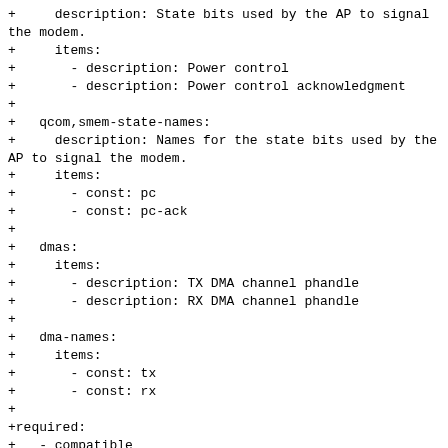+     description: State bits used by the AP to signal the modem.
+     items:
+       - description: Power control
+       - description: Power control acknowledgment
+
+   qcom,smem-state-names:
+     description: Names for the state bits used by the AP to signal the modem.
+     items:
+       - const: pc
+       - const: pc-ack
+
+   dmas:
+     items:
+       - description: TX DMA channel phandle
+       - description: RX DMA channel phandle
+
+   dma-names:
+     items:
+       - const: tx
+       - const: rx
+
+required:
+   - compatible
+   - interrupts
+   - interrupt-names
+   - qcom,smem-states
+   - qcom,smem-state-names
+   - dmas